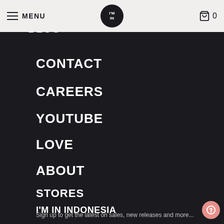MENU | [logo: I'M IN] | 0
CONTACT
CAREERS
YOUTUBE
LOVE
ABOUT
STORES
I'M IN INDONESIA
Sign up to get the latest on sales, new releases and more...